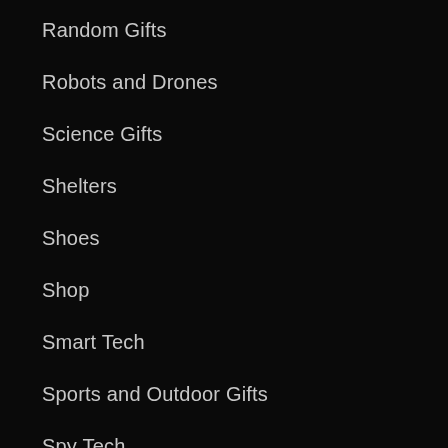Random Gifts
Robots and Drones
Science Gifts
Shelters
Shoes
Shop
Smart Tech
Sports and Outdoor Gifts
Spy Tech